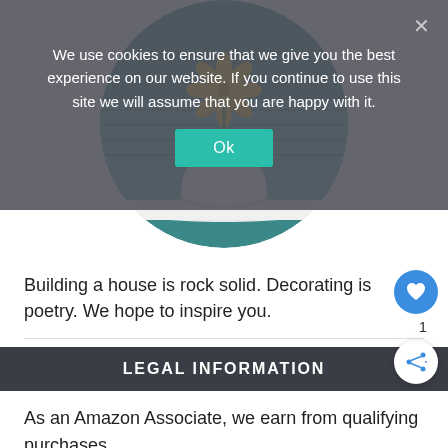We use cookies to ensure that we give you the best experience on our website. If you continue to use this site we will assume that you are happy with it.
[Figure (illustration): A circular hero image showing a white vase with a sunflower against a teal wooden background, partially overlaid by a cookie consent banner]
Building a house is rock solid. Decorating is poetry. We hope to inspire you.
LEGAL INFORMATION
As an Amazon Associate, we earn from qualifying purchases.